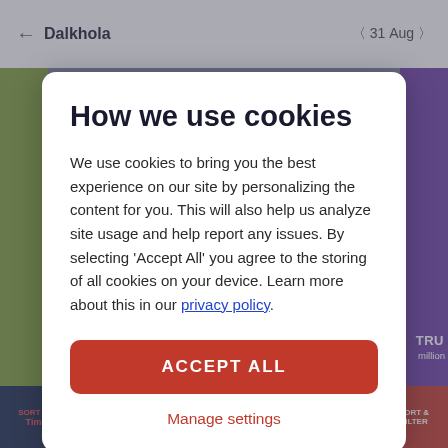[Figure (screenshot): Background of a train booking app showing: top navigation bar with back arrow, 'Dalkhola' city name, '31 Aug' date with navigation arrows; colored panels in green and purple on the sides; a bottom navigation bar with 'SORT BY Time', 'Cancellable', 'Evening 18:00-24:00', 'AC', 'Sleeper', and 'SORT & FILTER' options.]
How we use cookies
We use cookies to bring you the best experience on our site by personalizing the content for you. This will also help us analyze site usage and help report any issues. By selecting 'Accept All' you agree to the storing of all cookies on your device. Learn more about this in our privacy policy.
ACCEPT ALL
Manage settings